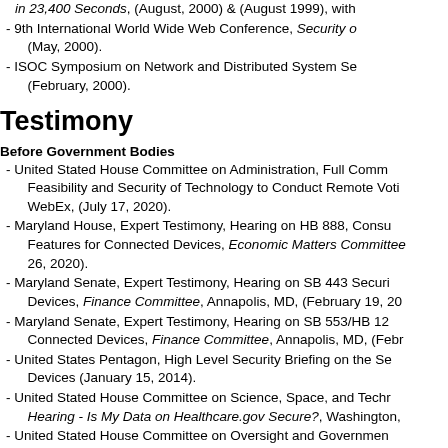in 23,400 Seconds, (August, 2000) & (August 1999), with
9th International World Wide Web Conference, Security o (May, 2000).
ISOC Symposium on Network and Distributed System Se (February, 2000).
Testimony
Before Government Bodies
United Stated House Committee on Administration, Full Comm Feasibility and Security of Technology to Conduct Remote Voti WebEx, (July 17, 2020).
Maryland House, Expert Testimony, Hearing on HB 888, Consu Features for Connected Devices, Economic Matters Committee 26, 2020).
Maryland Senate, Expert Testimony, Hearing on SB 443 Securi Devices, Finance Committee, Annapolis, MD, (February 19, 20
Maryland Senate, Expert Testimony, Hearing on SB 553/HB 12 Connected Devices, Finance Committee, Annapolis, MD, (Febr
United States Pentagon, High Level Security Briefing on the Se Devices (January 15, 2014).
United Stated House Committee on Science, Space, and Techr Hearing - Is My Data on Healthcare.gov Secure?, Washington,
United Stated House Committee on Oversight and Governmen electronic voting, Washington, D.C., (April 18, 2007).